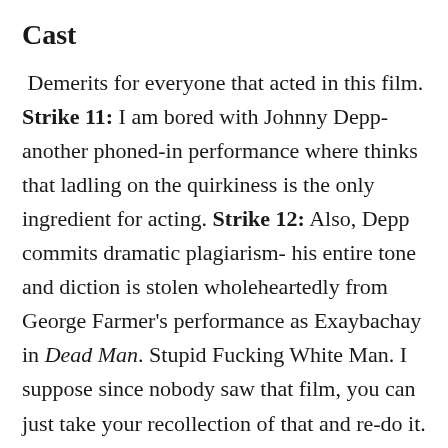Cast
Demerits for everyone that acted in this film. Strike 11: I am bored with Johnny Depp- another phoned-in performance where thinks that ladling on the quirkiness is the only ingredient for acting. Strike 12: Also, Depp commits dramatic plagiarism- his entire tone and diction is stolen wholeheartedly from George Farmer's performance as Exaybachay in Dead Man. Stupid Fucking White Man. I suppose since nobody saw that film, you can just take your recollection of that and re-do it. Strike 13: A...